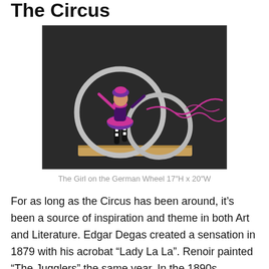The Circus
[Figure (photo): A sculpture of a female acrobat performing on a German Wheel (Cyr wheel), dressed in pink and purple costume with pink ribbon/wire extending from the figure, mounted on a wooden base. Dark background.]
The Girl on the German Wheel 17"H x 20"W
For as long as the Circus has been around, it's been a source of inspiration and theme in both Art and Literature. Edgar Degas created a sensation in 1879 with his acrobat “Lady La La”. Renoir painted “The Jugglers” the same year. In the 1890s Toulouse-Lautrec was committed to a sanatorium and in an effort to convince his doctors he was